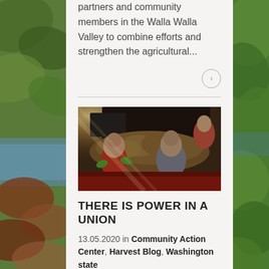partners and community members in the Walla Walla Valley to combine efforts and strengthen the agricultural...
[Figure (photo): Workers sorting or handling harvested crops (possibly onions or potatoes) at an agricultural operation, with sunlight streaming in]
THERE IS POWER IN A UNION
13.05.2020 in Community Action Center, Harvest Blog, Washington state
The Palouse region of eastern